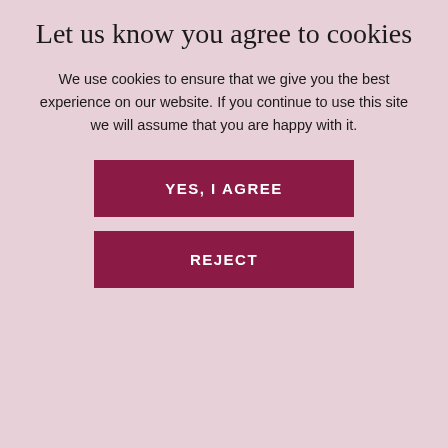Let us know you agree to cookies
We use cookies to ensure that we give you the best experience on our website. If you continue to use this site we will assume that you are happy with it.
YES, I AGREE
REJECT
In the shop
Non-Travel Late Flow Test